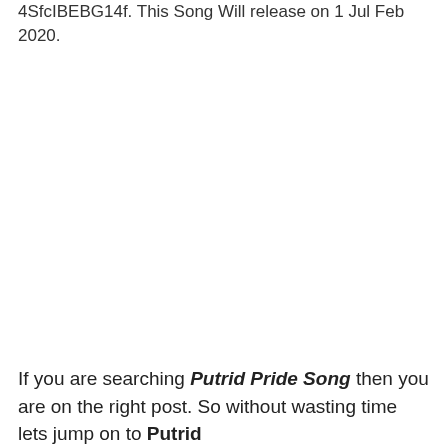4SfcIBEBG14f. This Song Will release on 1 Jul Feb 2020.
If you are searching Putrid Pride Song then you are on the right post. So without wasting time lets jump on to Putrid